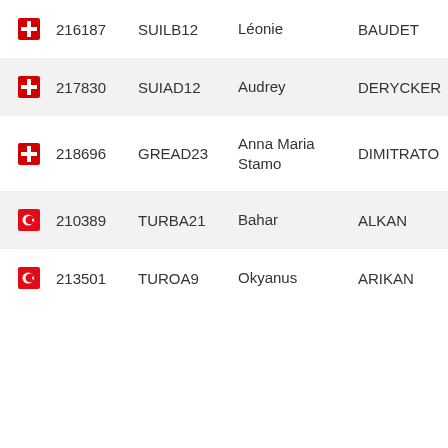| Flag | ID | Code | First Name | Last Name |
| --- | --- | --- | --- | --- |
| 🇨🇭 | 216187 | SUILB12 | Léonie | BAUDET |
| 🇨🇭 | 217830 | SUIAD12 | Audrey | DERYCKER |
| 🇨🇭 | 218696 | GREAD23 | Anna Maria Stamo | DIMITRATO |
| 🇹🇷 | 210389 | TURBA21 | Bahar | ALKAN |
| 🇹🇷 | 213501 | TUROA9 | Okyanus | ARIKAN |